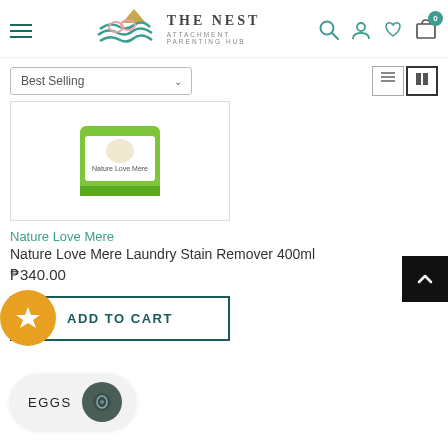[Figure (screenshot): The Nest Attachment Parenting Hub website header with logo, navigation hamburger menu, search icon, user icon, wishlist icon, and shopping cart icon showing 0 items]
[Figure (screenshot): Sort dropdown showing 'Best Selling' with chevron and view toggle buttons (list/grid)]
[Figure (photo): Product image of Nature Love Mere Laundry Stain Remover 400ml in green packaging]
Nature Love Mere
Nature Love Mere Laundry Stain Remover 400ml
₱340.00
ADD TO CART
[Figure (other): EGGS widget/button at bottom of page with circular icon]